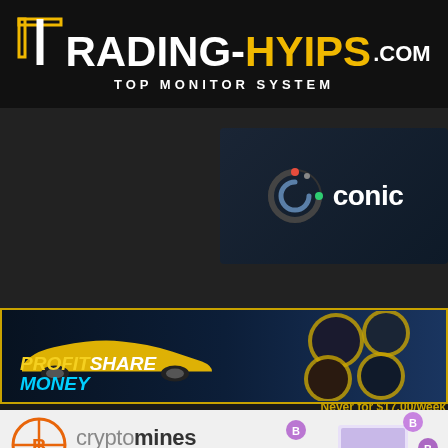[Figure (logo): Trading-Hyips.com logo with gold bracket T icon and tagline TOP MONITOR SYSTEM on black background]
[Figure (logo): Conico cryptocurrency platform logo - circular C icon with white text 'conic' on dark blue background]
[Figure (logo): ProfitShare Money investment platform banner with yellow sports car silhouette and circular car photo collage on dark blue background]
Never for $17.00/week
[Figure (logo): Cryptomines - Crypto Mines Limited banner with orange crosshair B logo on white background with purple coin illustrations and laptop]